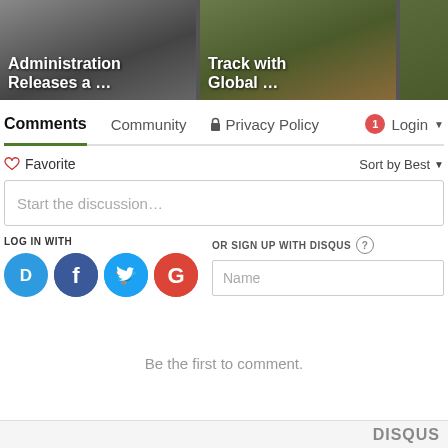[Figure (screenshot): Top image strip showing two article thumbnails with overlay text: 'Administration Releases a ...' and 'Track with Global ...' plus a partial third image]
Comments  Community  Privacy Policy  Login
Favorite  Sort by Best
Start the discussion…
LOG IN WITH
OR SIGN UP WITH DISQUS
Name
Be the first to comment.
DISQUS